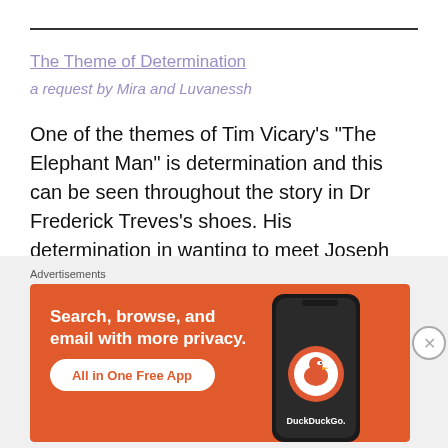The Theme of Determination
a request by Mira and Luvanessh
One of the themes of Tim Vicary's "The Elephant Man" is determination and this can be seen throughout the story in Dr Frederick Treves's shoes. His determination in wanting to meet Joseph Merrick, The Elephant Man, despite the shopkeeper was at first hesitant to allow the doctor to meet Merrick already gives us, the
[Figure (screenshot): DuckDuckGo advertisement banner with orange background. Text reads: 'Search, browse, and email with more privacy. All in One Free App' with DuckDuckGo logo and phone image.]